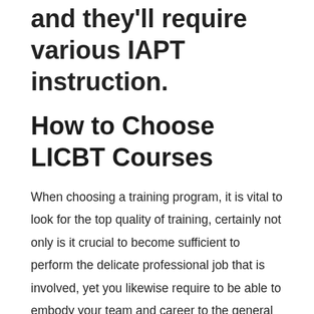and they'll require various IAPT instruction.
How to Choose LICBT Courses
When choosing a training program, it is vital to look for the top quality of training, certainly not only is it crucial to become sufficient to perform the delicate professional job that is involved, yet you likewise require to be able to embody your team and career to the general public. This is actually a tiring and requiring year, it will be worth it in the end. Keep reading to uncover additional concerning how to select LICBT courses.LICBT training program is actually
good enough to hold the duties of vulnerable medical work If you're asking yourself whether a LICBT